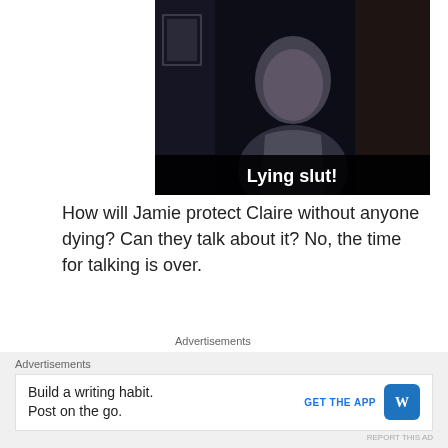[Figure (screenshot): Dark screenshot of a man (bald, bearded) in a dimly lit room with subtitle text 'Lying slut!' at the bottom in bold white text on black bar]
How will Jamie protect Claire without anyone dying? Can they talk about it? No, the time for talking is over.
Advertisements
[Figure (logo): Advertisement block with TV/D2 logo on grey background]
Advertisements
Build a writing habit. Post on the go.
GET THE APP
[Figure (logo): WordPress logo (W on blue rounded square)]
REPORT THIS AD